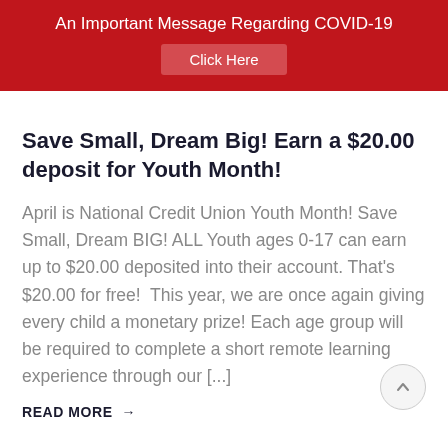An Important Message Regarding COVID-19
Save Small, Dream Big! Earn a $20.00 deposit for Youth Month!
April is National Credit Union Youth Month! Save Small, Dream BIG! ALL Youth ages 0-17 can earn up to $20.00 deposited into their account. That’s $20.00 for free!  This year, we are once again giving every child a monetary prize! Each age group will be required to complete a short remote learning experience through our [...]
READ MORE →